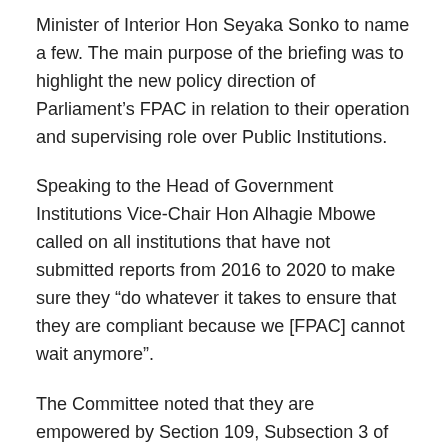Minister of Interior Hon Seyaka Sonko to name a few. The main purpose of the briefing was to highlight the new policy direction of Parliament’s FPAC in relation to their operation and supervising role over Public Institutions.
Speaking to the Head of Government Institutions Vice-Chair Hon Alhagie Mbowe called on all institutions that have not submitted reports from 2016 to 2020 to make sure they “do whatever it takes to ensure that they are compliant because we [FPAC] cannot wait anymore”.
The Committee noted that they are empowered by Section 109, Subsection 3 of the 1997 Constitution